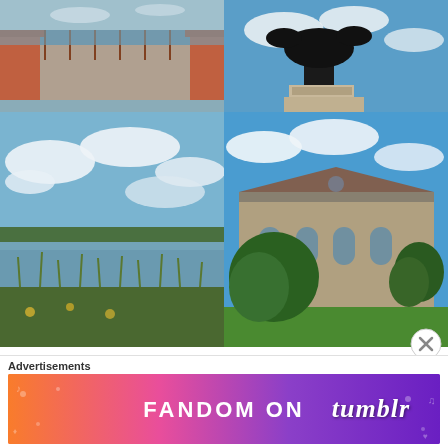[Figure (photo): Outdoor photo of a path by a lake/pond with brick railings and water in background]
[Figure (photo): Silhouette of a statue against blue cloudy sky]
[Figure (photo): Scenic view of a lake/reservoir with green reeds and cloudy blue sky]
[Figure (photo): Stone church building with gothic architecture surrounded by green grass and trees under blue sky]
Day Three: getting in touch with our childish side at Waterworld, meeting up with old friends in Hanley Park and enjoying the sun at
Advertisements
[Figure (infographic): Fandom on Tumblr advertisement banner with colorful gradient background (orange to purple) and white bold text]